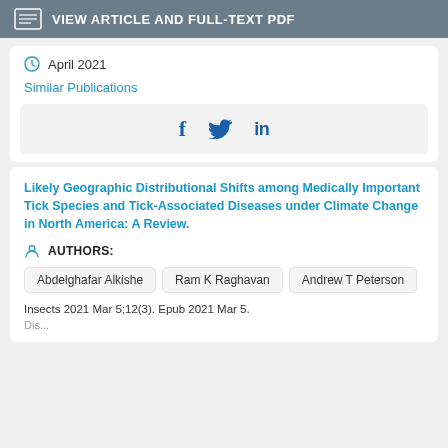VIEW ARTICLE AND FULL-TEXT PDF
April 2021
Similar Publications
[Figure (other): Social share icons: Facebook (f), Twitter (bird), LinkedIn (in)]
Likely Geographic Distributional Shifts among Medically Important Tick Species and Tick-Associated Diseases under Climate Change in North America: A Review.
AUTHORS:
Abdelghafar Alkishe
Ram K Raghavan
Andrew T Peterson
Insects 2021 Mar 5;12(3). Epub 2021 Mar 5.